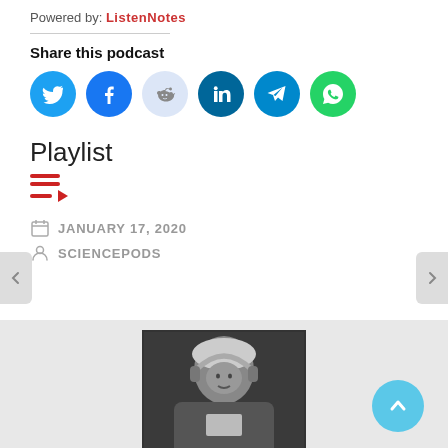Powered by: ListenNotes
Share this podcast
[Figure (infographic): Social share icons: Twitter (cyan), Facebook (blue), Reddit (light blue/gray), LinkedIn (dark teal), Telegram (dark cyan), WhatsApp (green)]
Playlist
[Figure (infographic): Playlist icon: three red horizontal bars with a red play triangle]
JANUARY 17, 2020
SCIENCEPODS
[Figure (photo): Black and white photo of elderly man with white hair wearing headphones, holding something, resembling Albert Einstein]